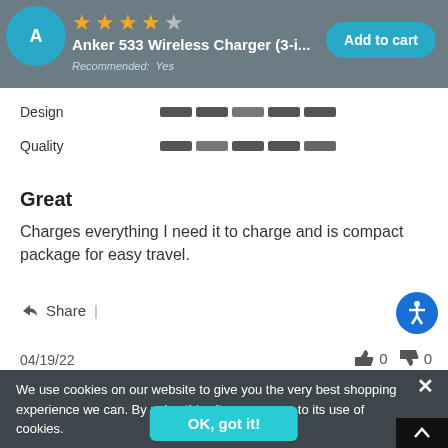Anker 533 Wireless Charger (3-i... — Add to cart — Recommended: Yes
Design
Quality
Great
Charges everything I need it to charge and is compact package for easy travel.
Share |
04/19/22
0  0
Tommy  Verified Buyer
Excelente
Excelente
Share |
We use cookies on our website to give you the very best shopping experience we can. By using this site, you agree to its use of cookies.
OK, got it!